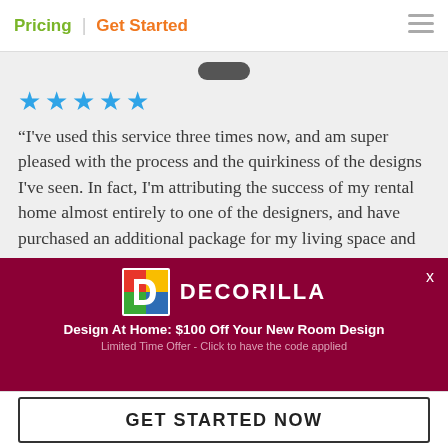Pricing | Get Started
[Figure (screenshot): User review with 5 blue stars and testimonial text on gray background]
“I've used this service three times now, and am super pleased with the process and the quirkiness of the designs I've seen. In fact, I'm attributing the success of my rental home almost entirely to one of the designers, and have purchased an additional package for my living space and
[Figure (logo): Decorilla ad banner with logo, brand name DECORILLA, tagline Design At Home: $100 Off Your New Room Design, Limited Time Offer - Click to have the code applied]
GET STARTED NOW